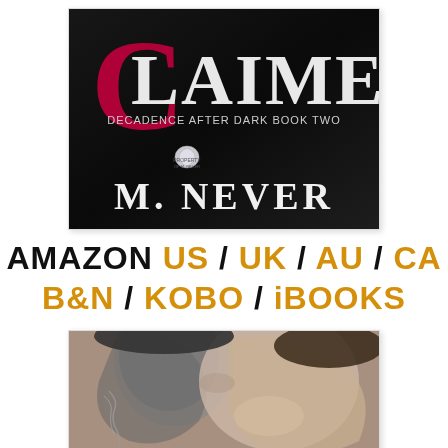[Figure (photo): Book cover of 'Claimed: Decadence After Dark Book Two' by M. Never. Dark background with large stylized text 'CLAIMED' in white/pink, a heart pendant, and author name 'M. NEVER' in large white letters.]
AMAZON US / UK / AU / CA B&N / KOBO / iBOOKS
[Figure (photo): Black and white romantic/intimate photo of a couple kissing or nearly kissing, close-up of faces and upper bodies, with a chain or necklace visible.]